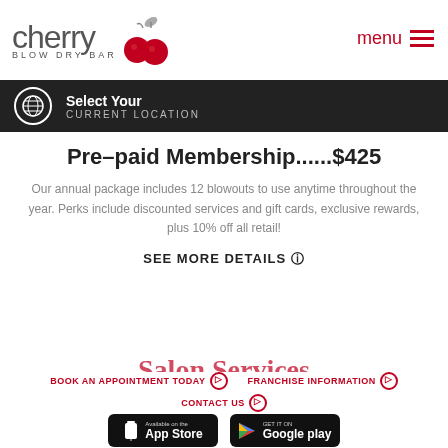[Figure (logo): Cherry Blow Dry Bar logo with cherry illustration and stylized text]
menu ☰
Select Your CURRENT LOCATION
Pre-paid Membership......$425
Our annual package includes 12 blowouts to use anytime throughout the year. Perks include discounted services and gift cards, exclusive rewards, plus 10% off all retail!
SEE MORE DETAILS ⊙
Salon Services
BOOK AN APPOINTMENT TODAY ⊙
FRANCHISE INFORMATION ⊙
CONTACT US ⊙
[Figure (screenshot): App Store download badge]
[Figure (screenshot): Google Play download badge]